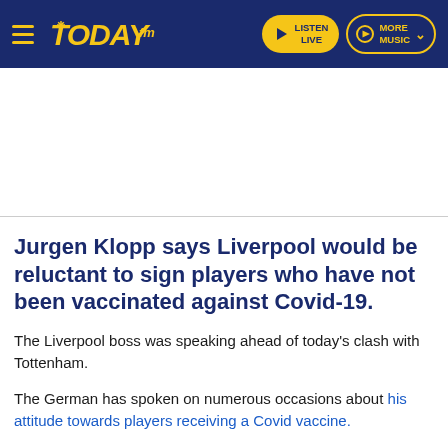TODAY fm — LISTEN LIVE | MORE MUSIC
Jurgen Klopp says Liverpool would be reluctant to sign players who have not been vaccinated against Covid-19.
The Liverpool boss was speaking ahead of today's clash with Tottenham.
The German has spoken on numerous occasions about his attitude towards players receiving a Covid vaccine.